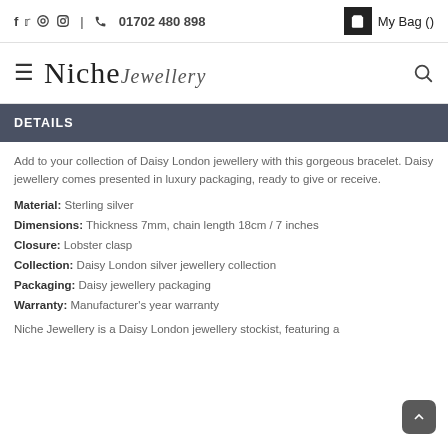f  twitter  pinterest  instagram  |  phone  01702 480 898    My Bag ()
≡  Niche Jewellery  🔍
DETAILS
Add to your collection of Daisy London jewellery with this gorgeous bracelet. Daisy jewellery comes presented in luxury packaging, ready to give or receive.
Material: Sterling silver
Dimensions: Thickness 7mm, chain length 18cm / 7 inches
Closure: Lobster clasp
Collection: Daisy London silver jewellery collection
Packaging: Daisy jewellery packaging
Warranty: Manufacturer's year warranty
Niche Jewellery is a Daisy London jewellery stockist, featuring a